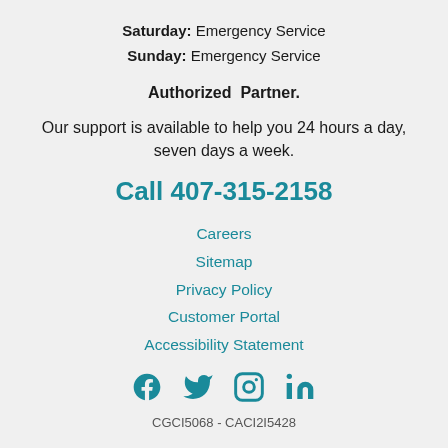Saturday: Emergency Service
Sunday: Emergency Service
Authorized Partner.
Our support is available to help you 24 hours a day, seven days a week.
Call 407-315-2158
Careers
Sitemap
Privacy Policy
Customer Portal
Accessibility Statement
[Figure (illustration): Social media icons: Facebook, Twitter, Instagram, LinkedIn]
CGCI5068 - CACI2I5428